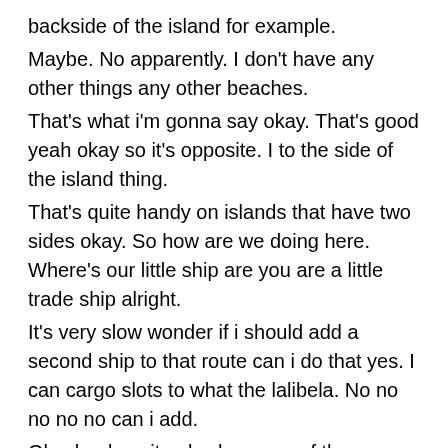backside of the island for example.
Maybe. No apparently. I don't have any other things any other beaches.
That's what i'm gonna say okay. That's good yeah okay so it's opposite. I to the side of the island thing.
That's quite handy on islands that have two sides okay. So how are we doing here. Where's our little ship are you are a little trade ship alright.
It's very slow wonder if i should add a second ship to that route can i do that yes. I can cargo slots to what the lalibela. No no no no no can i add.
Oh why does it only show one of them remove. No that's really strange okay. This one is there how about a cup of coffee.
There it goes. That's really strange okay. I'm alright well we'll find well what happened no i have no idea.
What's going on with this this is so weird okay. There are